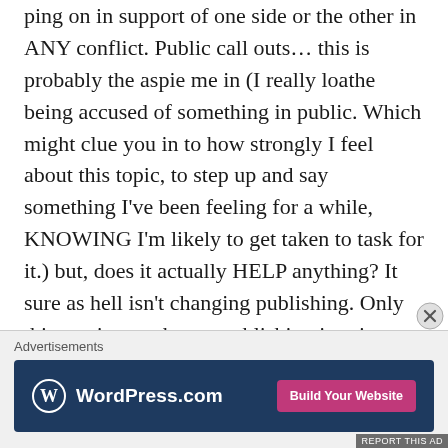ping on in support of one side or the other in ANY conflict. Public call outs… this is probably the aspie me in (I really loathe being accused of something in public. Which might clue you in to how strongly I feel about this topic, to step up and say something I've been feeling for a while, KNOWING I'm likely to get taken to task for it.) but, does it actually HELP anything? It sure as hell isn't changing publishing. Only thing going to change publishing is using your money to talk with. Buy the authentically diverse books with good rep. SUPPORT authors who are diverse, in
Advertisements
[Figure (other): WordPress.com advertisement banner with logo on dark blue background and pink 'Build Your Website' button]